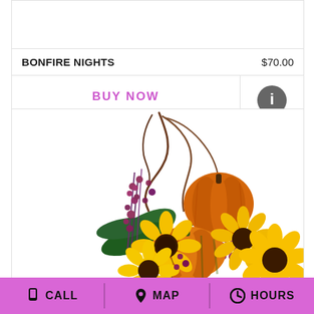BONFIRE NIGHTS   $70.00
BUY NOW
[Figure (photo): A fall floral arrangement featuring sunflowers, purple heather, pumpkins, green berries, and tall branchy accents on a white background.]
CALL   MAP   HOURS